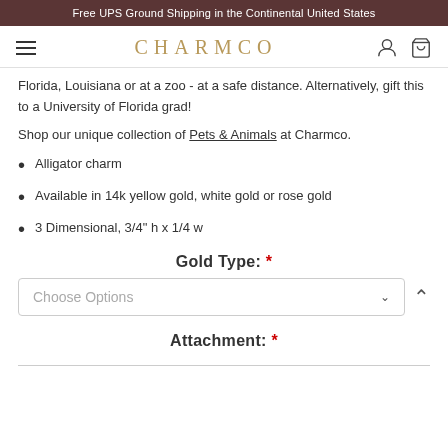Free UPS Ground Shipping in the Continental United States
CHARMCO
Florida, Louisiana or at a zoo - at a safe distance. Alternatively, gift this to a University of Florida grad!
Shop our unique collection of Pets & Animals at Charmco.
Alligator charm
Available in 14k yellow gold, white gold or rose gold
3 Dimensional, 3/4" h x 1/4 w
Gold Type: *
Choose Options
Attachment: *